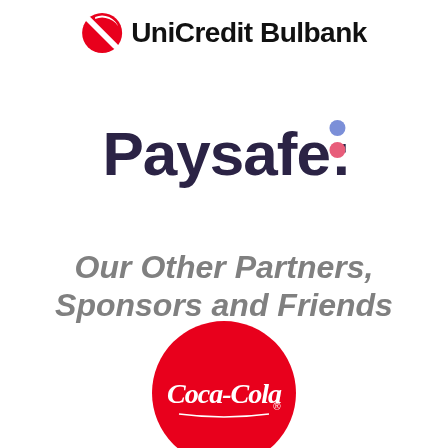[Figure (logo): UniCredit Bulbank logo with red and white circular icon and bold black text]
[Figure (logo): Paysafe logo in dark navy/purple bold font with blue and pink dots forming a colon]
Our Other Partners, Sponsors and Friends
[Figure (logo): Coca-Cola logo in white script text on a red circular background]